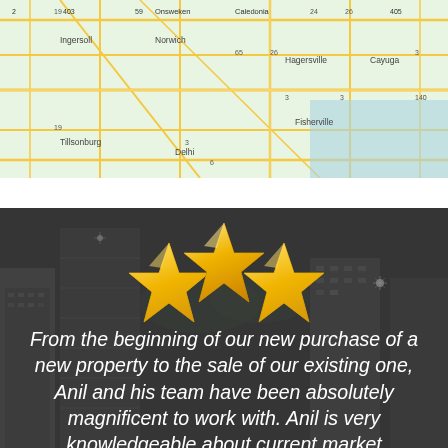[Figure (map): Google Maps view showing southern Ontario region including Norwich, Tillsonburg, Delhi, Hagersville, Cayuga, Fisherville, Caledonia, Onsweken, Wainfleet, Port Colborne, Welland, and surrounding roads and highways]
[Figure (photo): Dark grayscale cityscape background with tall office buildings at night, overlaid with three golden 3D stars and a white italic testimonial quote: 'From the beginning of our new purchase of a new property to the sale of our existing one, Anil and his team have been absolutely magnificent to work with. Anil is very knowledgeable about current market conditions,']